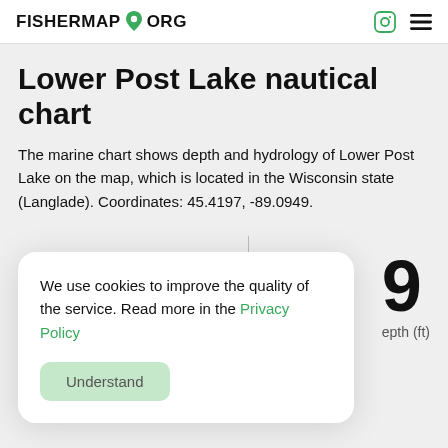FISHERMAP ORG
Lower Post Lake nautical chart
The marine chart shows depth and hydrology of Lower Post Lake on the map, which is located in the Wisconsin state (Langlade). Coordinates: 45.4197, -89.0949.
We use cookies to improve the quality of the service. Read more in the Privacy Policy
Understand